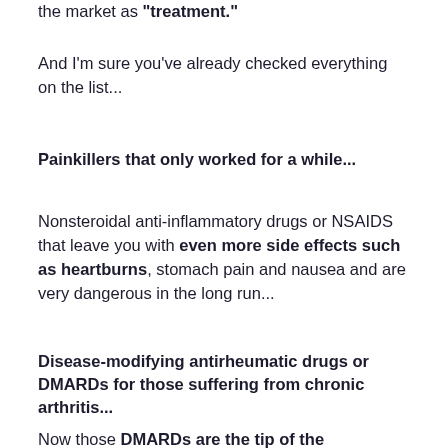the market as "treatment."
And I'm sure you've already checked everything on the list...
Painkillers that only worked for a while...
Nonsteroidal anti-inflammatory drugs or NSAIDS that leave you with even more side effects such as heartburns, stomach pain and nausea and are very dangerous in the long run...
Disease-modifying antirheumatic drugs or DMARDs for those suffering from chronic arthritis...
Now those DMARDs are the tip of the